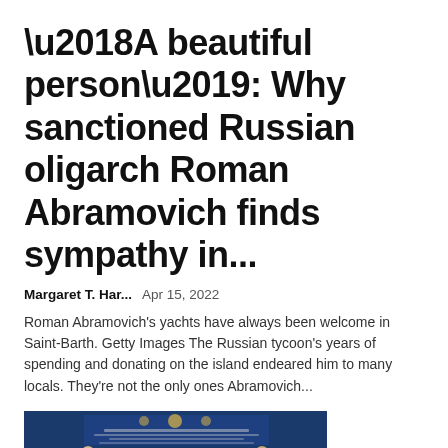‘A beautiful person’: Why sanctioned Russian oligarch Roman Abramovich finds sympathy in...
Margaret T. Har...   Apr 15, 2022
Roman Abramovich's yachts have always been welcome in Saint-Barth. Getty Images The Russian tycoon's years of spending and donating on the island endeared him to many locals. They're not the only ones Abramovich...
[Figure (photo): Two figures in suits standing at white podiums at a formal ceremony with blue backdrop showing Russian and Turkish insignia and Gazprom logos]